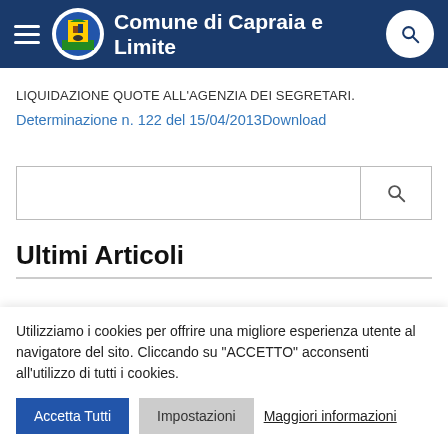Comune di Capraia e Limite
LIQUIDAZIONE QUOTE ALL'AGENZIA DEI SEGRETARI.
Determinazione n. 122 del 15/04/2013Download
Ultimi Articoli
Utilizziamo i cookies per offrire una migliore esperienza utente al navigatore del sito. Cliccando su "ACCETTO" acconsenti all'utilizzo di tutti i cookies.
Accetta Tutti
Impostazioni
Maggiori informazioni